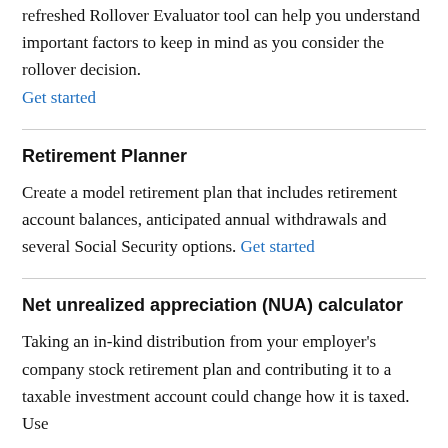refreshed Rollover Evaluator tool can help you understand important factors to keep in mind as you consider the rollover decision. Get started
Retirement Planner
Create a model retirement plan that includes retirement account balances, anticipated annual withdrawals and several Social Security options. Get started
Net unrealized appreciation (NUA) calculator
Taking an in-kind distribution from your employer's company stock retirement plan and contributing it to a taxable investment account could change how it is taxed. Use